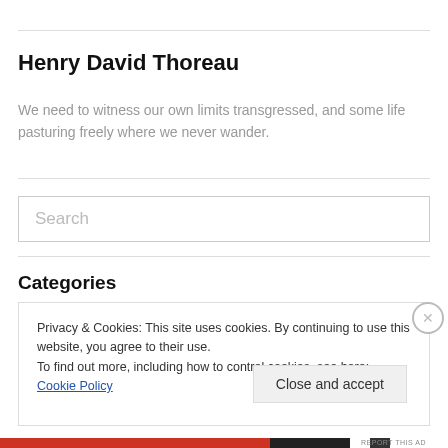Henry David Thoreau
We need to witness our own limits transgressed, and some life pasturing freely where we never wander.
Search
Categories
Privacy & Cookies: This site uses cookies. By continuing to use this website, you agree to their use.
To find out more, including how to control cookies, see here: Cookie Policy
Close and accept